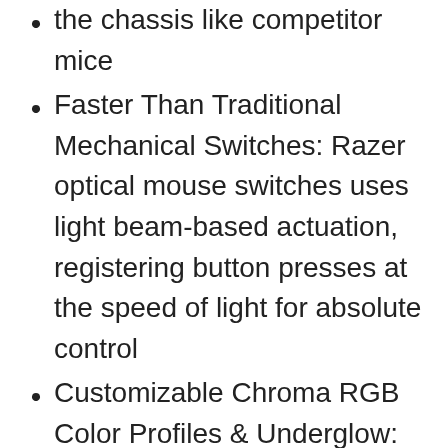the chassis like competitor mice
Faster Than Traditional Mechanical Switches: Razer optical mouse switches uses light beam-based actuation, registering button presses at the speed of light for absolute control
Customizable Chroma RGB Color Profiles & Underglow: Includes 16.8 million color combinations w, included preset profiles
6 Programmable Buttons: Allows for reconfiguration and assignment of complex macro functions through